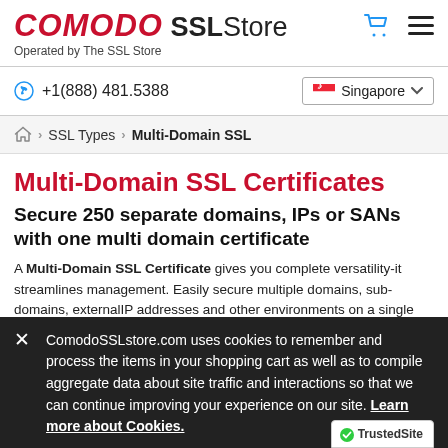COMODO SSL Store — Operated by The SSL Store
+1(888) 481.5388 | Singapore
Home > SSL Types > Multi-Domain SSL
Multi-Domain SSL Certificates
Secure 250 separate domains, IPs or SANs with one multi domain certificate
A Multi-Domain SSL Certificate gives you complete versatility-it streamlines management. Easily secure multiple domains, sub-domains, external IP addresses and other environments on a single certificate.
ComodoSSLstore.com uses cookies to remember and process the items in your shopping cart as well as to compile aggregate data about site traffic and interactions so that we can continue improving your experience on our site. Learn more about Cookies.